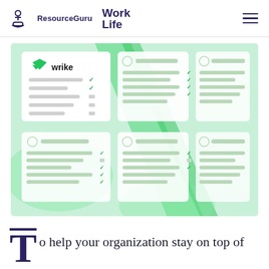ResourceGuru | WorkLife
[Figure (illustration): Wrike project management interface mockup showing cards with task lists and checkmarks on a green gradient background]
To help your organization stay on top of